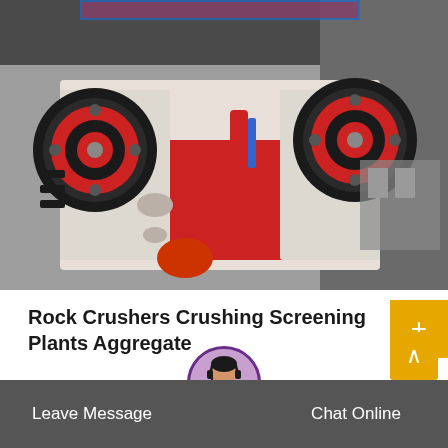[Figure (photo): Industrial jaw crusher / rock crusher machine in red and white, photographed inside a factory/warehouse setting. Large flywheel wheels with red rims visible on both sides.]
Rock Crushers Crushing Screening Plants Aggregate
Agg pro 30' x 40' hydraulically driven stacking conveyor 9,500.00 used cedar rapids 1636 jaw crusher rock crusher crushing aggregat…
Leave Message   Chat Online